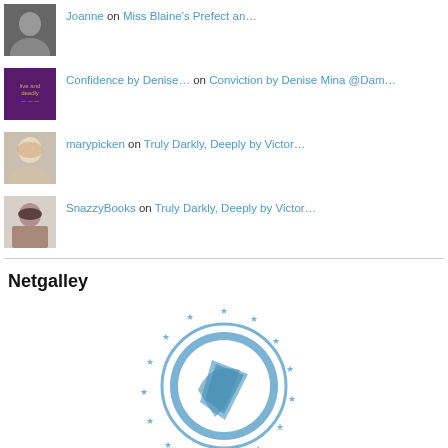Joanne on Miss Blaine's Prefect an…
Confidence by Denise… on Conviction by Denise Mina @Dam…
marypicken on Truly Darkly, Deeply by Victor…
SnazzyBooks on Truly Darkly, Deeply by Victor…
Netgalley
[Figure (logo): Netgalley Top Reviewer badge — circular emblem with a stylized pen/arrow icon in blue, surrounded by a ring of small stars, with 'TOP REVIEWER' text at the bottom on a banner.]